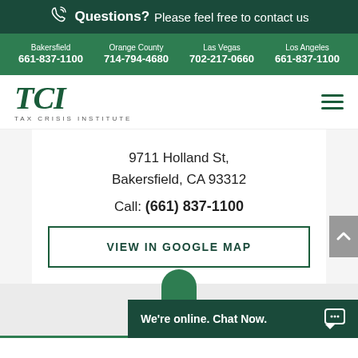Questions? Please feel free to contact us
Bakersfield 661-837-1100 | Orange County 714-794-4680 | Las Vegas 702-217-0660 | Los Angeles 661-837-1100
[Figure (logo): TCI Tax Crisis Institute logo]
9711 Holland St, Bakersfield, CA 93312
Call: (661) 837-1100
VIEW IN GOOGLE MAP
We're online. Chat Now.